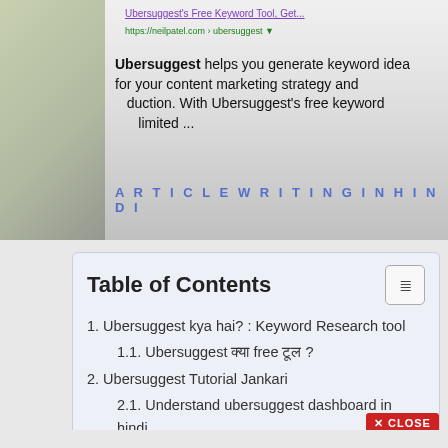[Figure (screenshot): Screenshot of Ubersuggest website showing keyword research tool description, with 'ARTICLEWRITINGINHINDI' watermark overlay]
Table of Contents
1. Ubersuggest kya hai? : Keyword Research tool
1.1. Ubersuggest क्या free टूल ?
2. Ubersuggest Tutorial Jankari
2.1. Understand ubersuggest dashboard in hindi
2.2. Traffic Analyzer ubersuggest